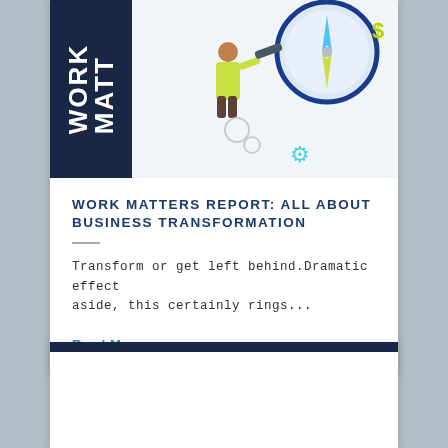[Figure (illustration): Card with navy left panel showing rotated 'WORK MATTERS' text, and an illustration on the right showing a person with a telescope, a compass, a dollar sign icon, and a gear icon on a light blue background.]
WORK MATTERS REPORT: ALL ABOUT BUSINESS TRANSFORMATION
Transform or get left behind.Dramatic effect aside, this certainly rings...
Read More